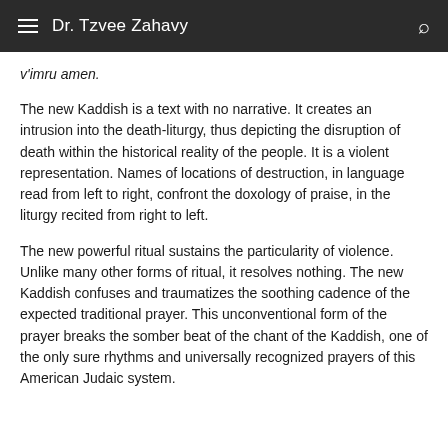Dr. Tzvee Zahavy
v'imru amen.
The new Kaddish is a text with no narrative. It creates an intrusion into the death-liturgy, thus depicting the disruption of death within the historical reality of the people. It is a violent representation. Names of locations of destruction, in language read from left to right, confront the doxology of praise, in the liturgy recited from right to left.
The new powerful ritual sustains the particularity of violence. Unlike many other forms of ritual, it resolves nothing. The new Kaddish confuses and traumatizes the soothing cadence of the expected traditional prayer. This unconventional form of the prayer breaks the somber beat of the chant of the Kaddish, one of the only sure rhythms and universally recognized prayers of this American Judaic system.